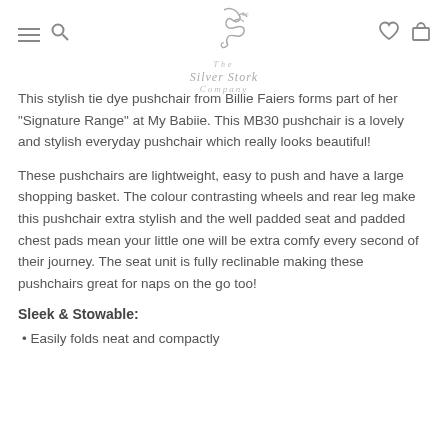The Silver Stork Company
This stylish tie dye pushchair from Billie Faiers forms part of her "Signature Range" at My Babiie. This MB30 pushchair is a lovely and stylish everyday pushchair which really looks beautiful!
These pushchairs are lightweight, easy to push and have a large shopping basket. The colour contrasting wheels and rear leg make this pushchair extra stylish and the well padded seat and padded chest pads mean your little one will be extra comfy every second of their journey. The seat unit is fully reclinable making these pushchairs great for naps on the go too!
Sleek & Stowable:
Easily folds neat and compactly